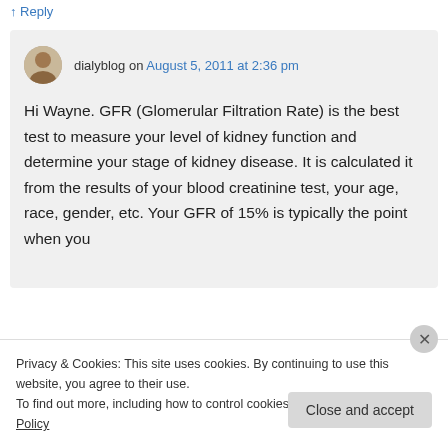↑ Reply
dialyblog on August 5, 2011 at 2:36 pm
Hi Wayne. GFR (Glomerular Filtration Rate) is the best test to measure your level of kidney function and determine your stage of kidney disease. It is calculated it from the results of your blood creatinine test, your age, race, gender, etc. Your GFR of 15% is typically the point when you
Privacy & Cookies: This site uses cookies. By continuing to use this website, you agree to their use.
To find out more, including how to control cookies, see here: Cookie Policy
Close and accept